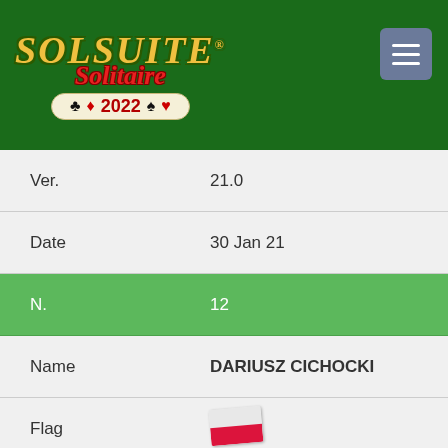[Figure (logo): SolSuite Solitaire 2022 logo on dark green background with gold/red stylized text and card suit symbols (club, diamond, spade, heart)]
| Ver. | 21.0 |
| Date | 30 Jan 21 |
| N. | 12 |
| Name | DARIUSZ CICHOCKI |
| Flag | [Poland flag] |
| Country | Poland |